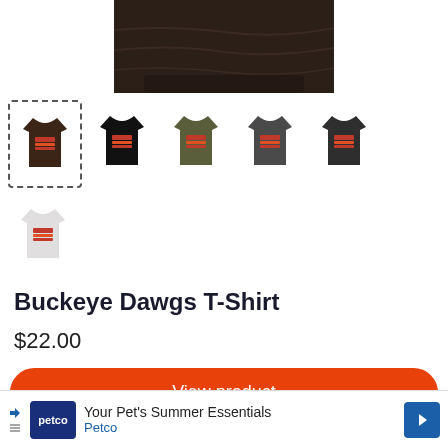[Figure (photo): Main product image showing top portion of a dark brown Buckeye Dawgs T-Shirt, cropped]
[Figure (photo): Thumbnail row of t-shirts in various colors: dark brown (selected with dashed border), black, olive green, dark gray, charcoal]
[Figure (photo): Second thumbnail row with a single light gray/white t-shirt]
Buckeye Dawgs T-Shirt
$22.00
View product
Your Pet's Summer Essentials
Petco